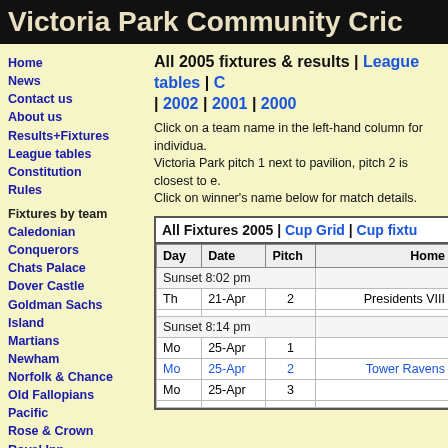Victoria Park Community Cric
Home
News
Contact us
About us
Results+Fixtures
League tables
Constitution
Rules
Fixtures by team
Caledonian
Conquerors
Chats Palace
Dover Castle
Goldman Sachs
Island
Martians
Newham
Norfolk & Chance
Old Fallopians
Pacific
Rose & Crown
Royal Inn
Sky
Tower Ravens
Traditional
Corsairs
Vallance
Vallance Bow
Victoria Lounge
All 2005 fixtures & results | League tables | C | 2002 | 2001 | 2000
Click on a team name in the left-hand column for individua. Victoria Park pitch 1 next to pavilion, pitch 2 is closest to e. Click on winner's name below for match details.
| Day | Date | Pitch | Home |
| --- | --- | --- | --- |
| Sunset 8:02 pm |  |  |  |
| Th | 21-Apr | 2 | Presidents VIII |
|  |  |  |  |
| Sunset 8:14 pm |  |  |  |
| Mo | 25-Apr | 1 |  |
| Mo | 25-Apr | 2 | Tower Ravens |
| Mo | 25-Apr | 3 |  |
|  |  |  |  |